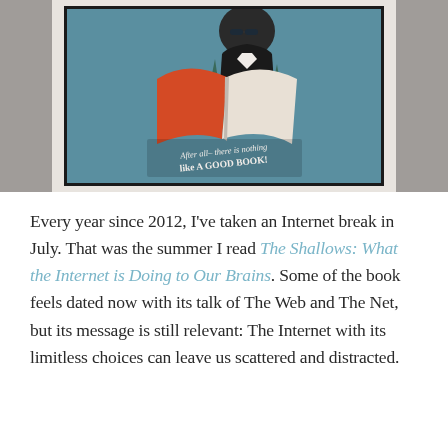[Figure (photo): A framed poster on a wall between two gray curtain panels. The poster shows a person reading a large open book with a red cover. Text on the poster reads: 'After all– there is nothing like A GOOD BOOK!']
Every year since 2012, I've taken an Internet break in July. That was the summer I read The Shallows: What the Internet is Doing to Our Brains. Some of the book feels dated now with its talk of The Web and The Net, but its message is still relevant: The Internet with its limitless choices can leave us scattered and distracted.